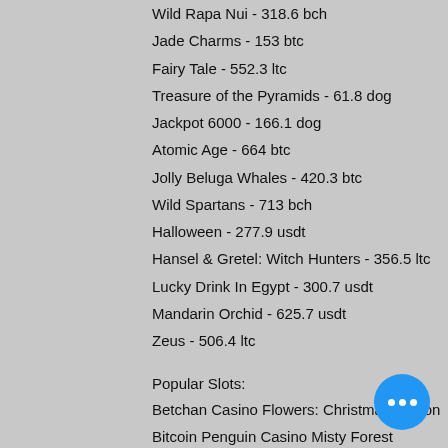Wild Rapa Nui - 318.6 bch
Jade Charms - 153 btc
Fairy Tale - 552.3 ltc
Treasure of the Pyramids - 61.8 dog
Jackpot 6000 - 166.1 dog
Atomic Age - 664 btc
Jolly Beluga Whales - 420.3 btc
Wild Spartans - 713 bch
Halloween - 277.9 usdt
Hansel & Gretel: Witch Hunters - 356.5 ltc
Lucky Drink In Egypt - 300.7 usdt
Mandarin Orchid - 625.7 usdt
Zeus - 506.4 ltc
Popular Slots:
Betchan Casino Flowers: Christmas Edition
Bitcoin Penguin Casino Misty Forest
Cloudbet Casino Magic Stone
Cloudbet Casino The Land of Heroes